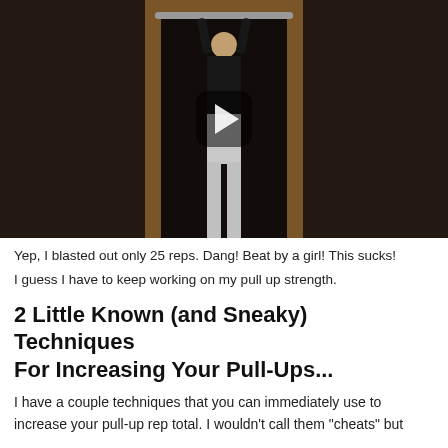[Figure (photo): Video thumbnail showing a bald man hanging from a pull-up bar in a dark room with a wooden doorframe, with a play button overlay in the center.]
Yep, I blasted out only 25 reps. Dang! Beat by a girl! This sucks! I guess I have to keep working on my pull up strength.
2 Little Known (and Sneaky) Techniques For Increasing Your Pull-Ups...
I have a couple techniques that you can immediately use to increase your pull-up rep total. I wouldn't call them "cheats" but